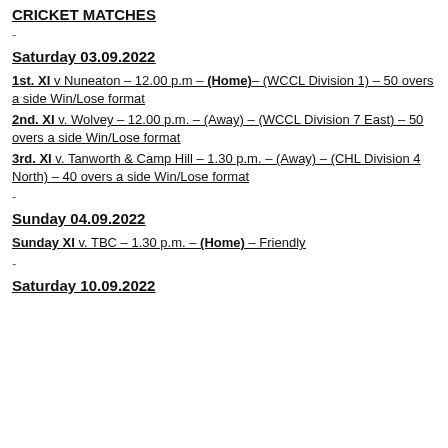CRICKET MATCHES
-
Saturday 03.09.2022
1st. XI v  Nuneaton –  12.00 p.m – (Home)– (WCCL Division 1) – 50 overs a side Win/Lose format
2nd. XI v. Wolvey – 12.00 p.m. – (Away) – (WCCL Division 7 East) – 50 overs a side Win/Lose format
3rd. XI v. Tanworth & Camp Hill – 1.30 p.m. – (Away) – (CHL Division 4 North) – 40 overs a side Win/Lose format
-
Sunday 04.09.2022
Sunday XI v. TBC – 1.30 p.m. – (Home) – Friendly
-
Saturday 10.09.2022